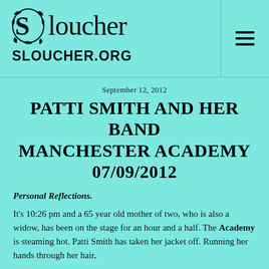Sloucher / SLOUCHER.ORG
September 12, 2012
PATTI SMITH AND HER BAND MANCHESTER ACADEMY 07/09/2012
Personal Reflections.
It's 10:26 pm and a 65 year old mother of two, who is also a widow, has been on the stage for an hour and a half. The Academy is steaming hot. Patti Smith has taken her jacket off. Running her hands through her hair,